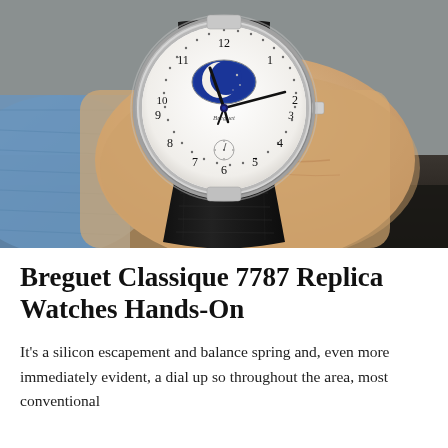[Figure (photo): Close-up photograph of a Breguet Classique 7787 watch on a person's wrist. The watch has a white enamel dial with moon phase complication showing a blue crescent moon, Arabic numerals, and black alligator leather strap. The wearer is wearing a light blue denim shirt.]
Breguet Classique 7787 Replica Watches Hands-On
It's a silicon escapement and balance spring and, even more immediately evident, a dial up so throughout the area, most conventional